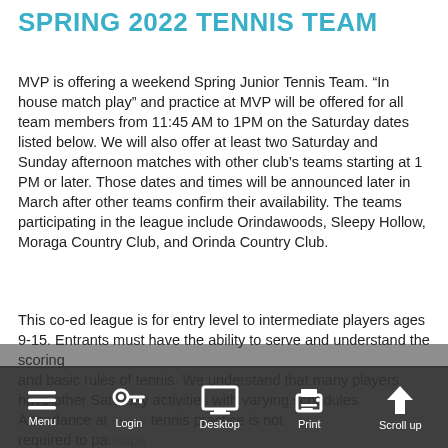SPRING 2022 TENNIS TEAM
MVP is offering a weekend Spring Junior Tennis Team. “In house match play” and practice at MVP will be offered for all team members from 11:45 AM to 1PM on the Saturday dates listed below. We will also offer at least two Saturday and Sunday afternoon matches with other club’s teams starting at 1 PM or later. Those dates and times will be announced later in March after other teams confirm their availability. The teams participating in the league include Orindawoods, Sleepy Hollow, Moraga Country Club, and Orinda Country Club.
This co-ed league is for entry level to intermediate players ages 9-15. Entrants must have the ability to serve and understand the scoring
and basic rules of tennis. We understand that many players have other Saturday activities with varying schedules. Attendance at every tennis practice is not required to participate.
Space to participate in the matches against the other clubs